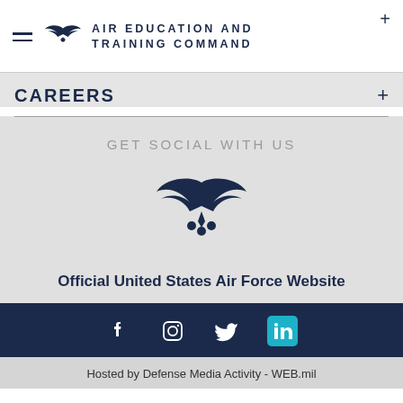AIR EDUCATION AND TRAINING COMMAND
CAREERS
GET SOCIAL WITH US
[Figure (logo): US Air Force wings logo, large, dark navy blue]
Official United States Air Force Website
[Figure (infographic): Social media icons: Facebook, Instagram, Twitter, LinkedIn]
Hosted by Defense Media Activity - WEB.mil